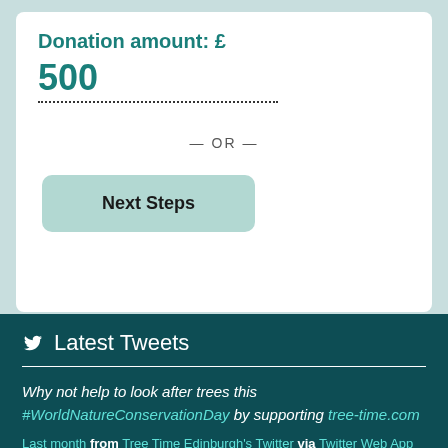Donation amount: £
500
— OR —
Next Steps
Latest Tweets
Why not help to look after trees this #WorldNatureConservationDay by supporting tree-time.com
Last month from Tree Time Edinburgh's Twitter via Twitter Web App